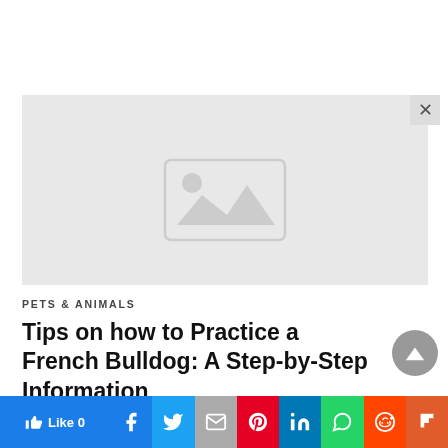[Figure (photo): Placeholder image with grey background and image icon in the center]
PETS & ANIMALS
Tips on how to Practice a French Bulldog: A Step-by-Step Information
[Figure (other): Social share bar with Like, Facebook, Twitter, Gmail, Pinterest, LinkedIn, WhatsApp, Reddit, Flipboard buttons]